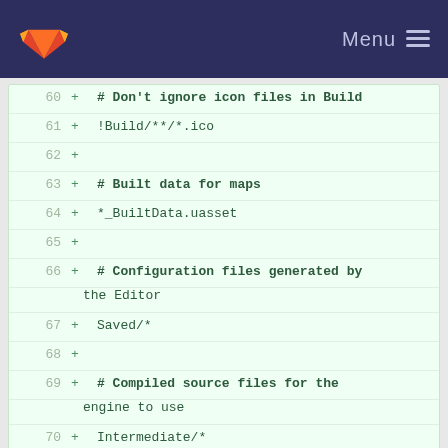[Figure (screenshot): GitLab navigation bar with fox logo and Menu button on dark navy background]
60  + # Don't ignore icon files in Build
61  + !Build/**/*.ico
62  +
63  + # Built data for maps
64  + *_BuiltData.uasset
65  +
66  + # Configuration files generated by the Editor
67  + Saved/*
68  +
69  + # Compiled source files for the engine to use
70  + Intermediate/*
71  + Plugins/*/Intermediate/*
72  +
73  + # Cache files for the editor to use
74  + DerivedDataCache/*
README.md  0 → 100644